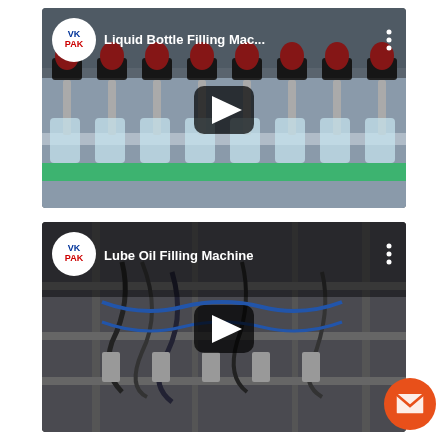[Figure (screenshot): Video thumbnail for 'Liquid Bottle Filling Mac...' showing a filling machine with red nozzles and clear bottles on a conveyor. VKPAK logo in top-left circle, play button in center, three-dot menu in top-right.]
[Figure (screenshot): Video thumbnail for 'Lube Oil Filling Machine' showing industrial filling equipment in a dark factory setting. VKPAK logo in top-left circle, play button in center, three-dot menu in top-right.]